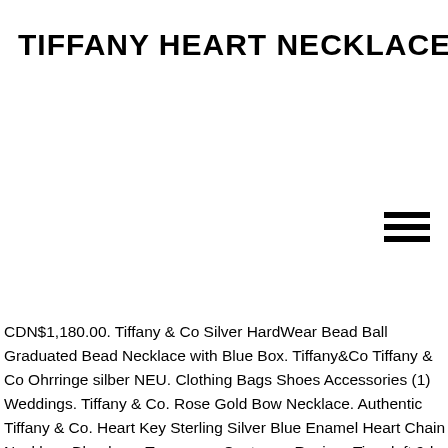TIFFANY HEART NECKLACE BLUE
[Figure (other): Hamburger menu icon (three horizontal lines) in top right corner]
CDN$1,180.00. Tiffany & Co Silver HardWear Bead Ball Graduated Bead Necklace with Blue Box. Tiffany&Co Tiffany & Co Ohrringe silber NEU. Clothing Bags Shoes Accessories (1) Weddings. Tiffany & Co. Rose Gold Bow Necklace. Authentic Tiffany & Co. Heart Key Sterling Silver Blue Enamel Heart Chain Necklace BlondeeesTreasures. Customer Review. Time left 9d 19h left. 3 watchers. Tiffany & co elsa peretti sterling silver open heart pendant necklace. CDN$545.00. Tiffany & Co Sterling Silver 925 Red Enamel Mini Heart Pendant Necklace W/ Pouch. Return to Tiffany™:Heart Tag Necklace. £570.00. 100% authentic.. Sold by 996572396. Pre-Owned. View Item Details White Gold Blue Topaz & Diamond Pendant. Explore Tiffany necklaces and pendants in a range of classic and modern styles for every occasion, featuring diamond drop necklaces, charm necklaces and heart pendants in 18k gold and sterling silver. CDN$245.00. Explore our collection of elegant bands, head-turning … Everyday … 36 - 70 of 12,382 Items. Return to Tiffany™Mini Bead...